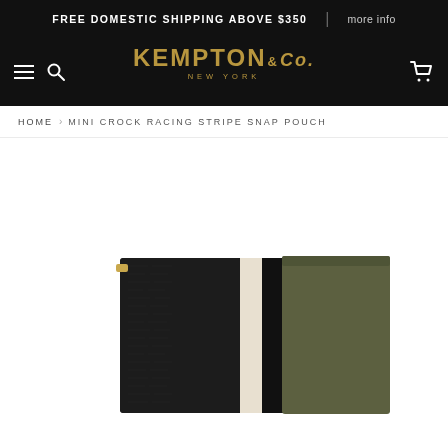FREE DOMESTIC SHIPPING ABOVE $350 | more info
[Figure (logo): Kempton & Co New York logo in gold on black background]
HOME > MINI CROCK RACING STRIPE SNAP POUCH
[Figure (photo): Mini Crock Racing Stripe Snap Pouch product photo showing a flat pouch with black croc-embossed leather, cream stripe, black stripe, and olive green suede section, with a gold snap closure at top left]